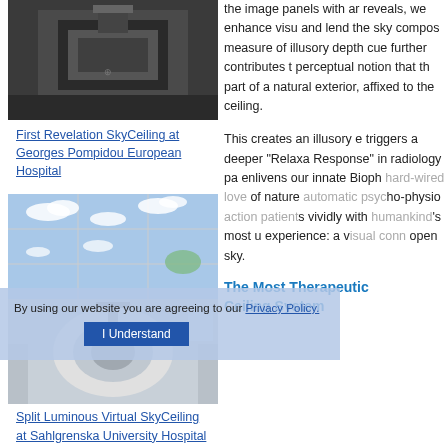[Figure (photo): Dark overhead view of a ceiling-mounted panel device in a room]
First Revelation SkyCeiling at Georges Pompidou European Hospital
[Figure (photo): Split image showing luminous virtual sky ceiling panels installed above an MRI machine at Sahlgrenska University Hospital in Sweden]
Split Luminous Virtual SkyCeiling at Sahlgrenska University Hospital in Sweden
By using our website you are agreeing to our Privacy Policy.
I Understand
the image panels with ar reveals, we enhance visu and lend the sky compos measure of illusory depth cue further contributes t perceptual notion that th part of a natural exterior, affixed to the ceiling.
This creates an illusory e triggers a deeper "Relaxa Response" in radiology pa enlivens our innate Bioph hard-wired love of nature automatic psycho-physio action patients vividly with humankind's most u experience: a visual conn open sky.
The Most Therapeutic Ceiling System